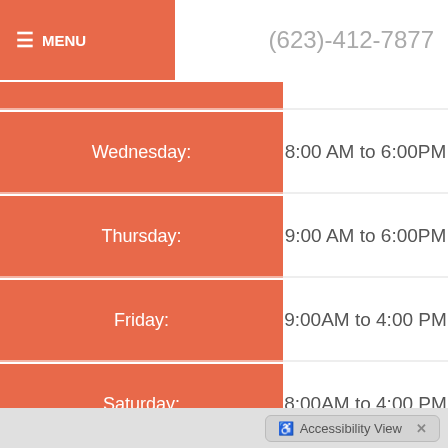≡ MENU   (623)-412-7877
| Day | Hours |
| --- | --- |
| Wednesday: | 8:00 AM to 6:00PM |
| Thursday: | 9:00 AM to 6:00PM |
| Friday: | 9:00AM to 4:00 PM |
| Saturday: | 8:00AM to 4:00 PM |
| Sunday: | Closed |
♿ Accessibility View  ×